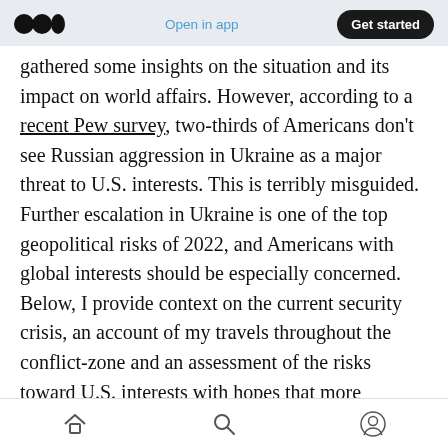Medium logo | Open in app | Get started
gathered some insights on the situation and its impact on world affairs. However, according to a recent Pew survey, two-thirds of Americans don't see Russian aggression in Ukraine as a major threat to U.S. interests. This is terribly misguided. Further escalation in Ukraine is one of the top geopolitical risks of 2022, and Americans with global interests should be especially concerned. Below, I provide context on the current security crisis, an account of my travels throughout the conflict-zone and an assessment of the risks toward U.S. interests with hopes that more Americans will...
Home | Search | Profile